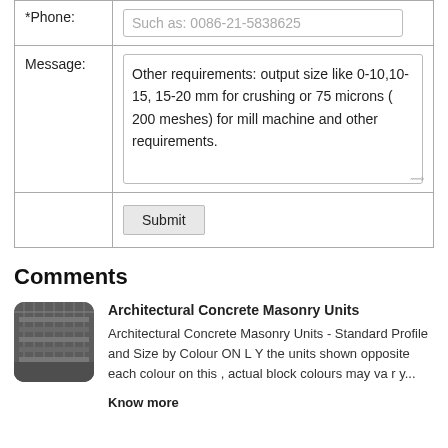| *Phone: | Such as: 0086-21-5838625 |
| Message: | Other requirements: output size like 0-10,10-15, 15-20 mm for crushing or 75 microns ( 200 meshes) for mill machine and other requirements. |
|  | Submit |
Comments
[Figure (photo): Thumbnail photo of architectural concrete masonry units / industrial building interior]
Architectural Concrete Masonry Units
Architectural Concrete Masonry Units - Standard Profile and Size by Colour ON L Y the units shown opposite each colour on this , actual block colours may va r y...
Know more